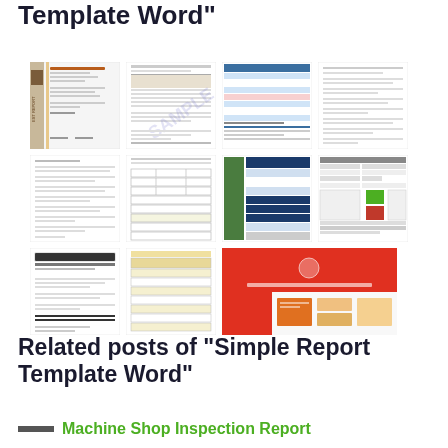Template Word"
[Figure (screenshot): Grid of 11 thumbnail previews of various report template documents in Word format, arranged in 3 rows of 4 columns (last row has 3). Templates include inspection reports, forms, and business report documents.]
Related posts of "Simple Report Template Word"
Machine Shop Inspection Report